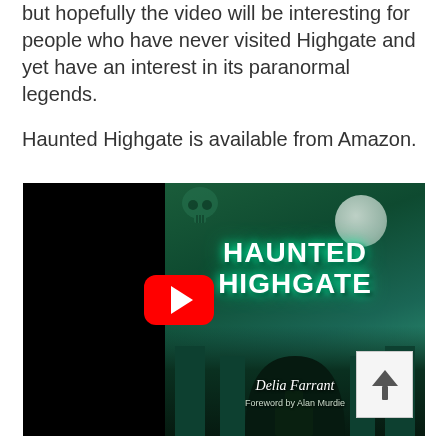but hopefully the video will be interesting for people who have never visited Highgate and yet have an interest in its paranormal legends.
Haunted Highgate is available from Amazon.
[Figure (screenshot): YouTube video thumbnail showing the book cover of 'Haunted Highgate' by Delia Farrant, Foreword by Alan Murdie. The cover features ghostly green tones with a skull, moon, cemetery arch, and the book title in glowing text. A red YouTube play button is overlaid in the center. A white scroll-up arrow button appears in the bottom right corner.]